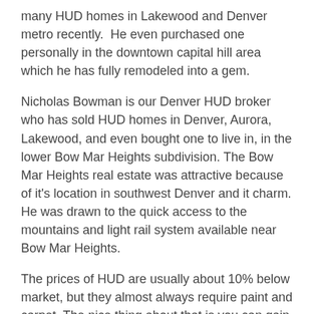many HUD homes in Lakewood and Denver metro recently.  He even purchased one personally in the downtown capital hill area which he has fully remodeled into a gem.
Nicholas Bowman is our Denver HUD broker who has sold HUD homes in Denver, Aurora, Lakewood, and even bought one to live in, in the lower Bow Mar Heights subdivision. The Bow Mar Heights real estate was attractive because of it's location in southwest Denver and it charm. He was drawn to the quick access to the mountains and light rail system available near Bow Mar Heights.
The prices of HUD are usually about 10% below market, but they almost always require paint and carpet. The nice thing about that is you can gain some sweat equity and customize the finishes of your new house.